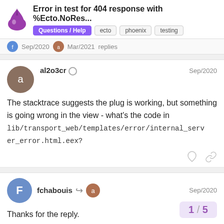Error in test for 404 response with %Ecto.NoRes... | Questions / Help | ecto | phoenix | testing
Sep/2020  Mar/2021  replies
al2o3cr  Sep/2020
The stacktrace suggests the plug is working, but something is going wrong in the view - what's the code in lib/transport_web/templates/error/internal_server_error.html.eex?
fchabouis  Sep/2020
Thanks for the reply.

Here is the code of the template :
1 / 5